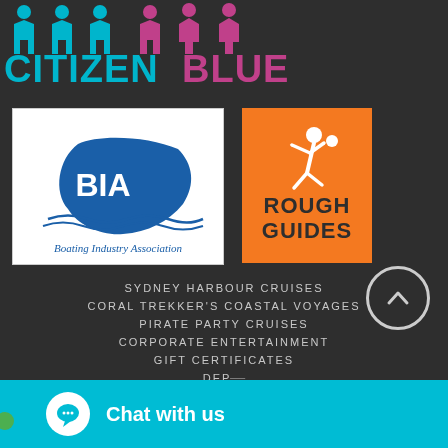[Figure (logo): CitizenBlue logo with human silhouettes in teal and pink, text CITIZEN in teal and BLUE in pink/magenta]
[Figure (logo): Boating Industry Association (BIA) logo with blue Australia map and wave motif on white background]
[Figure (logo): Rough Guides logo with white running figure on orange background]
SYDNEY HARBOUR CRUISES
CORAL TREKKER'S COASTAL VOYAGES
PIRATE PARTY CRUISES
CORPORATE ENTERTAINMENT
GIFT CERTIFICATES
DEP...
FREQUE...
[Figure (other): Chat with us widget in teal with chat bubble icon and green online dot]